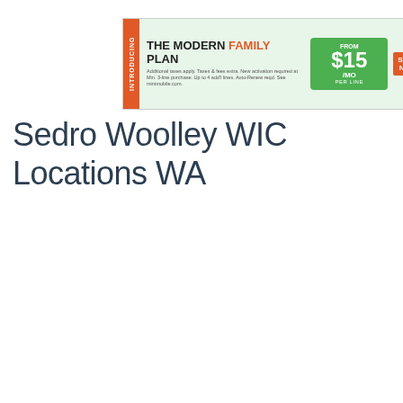[Figure (other): Mint Mobile advertisement banner: 'Introducing The Modern Family Plan — $15/mo per line from'. Orange 'SHOP NOW' button and Mint Mobile logo with close/play icons.]
Sedro Woolley WIC Locations WA